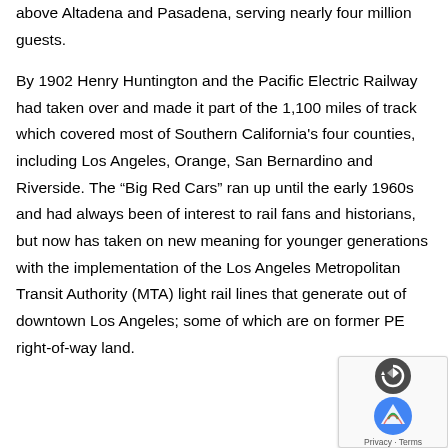above Altadena and Pasadena, serving nearly four million guests.
By 1902 Henry Huntington and the Pacific Electric Railway had taken over and made it part of the 1,100 miles of track which covered most of Southern California's four counties, including Los Angeles, Orange, San Bernardino and Riverside. The “Big Red Cars” ran up until the early 1960s and had always been of interest to rail fans and historians, but now has taken on new meaning for younger generations with the implementation of the Los Angeles Metropolitan Transit Authority (MTA) light rail lines that generate out of downtown Los Angeles; some of which are on former PE right-of-way land.